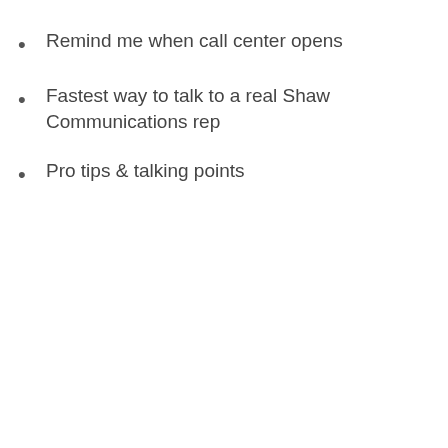Remind me when call center opens
Fastest way to talk to a real Shaw Communications rep
Pro tips & talking points